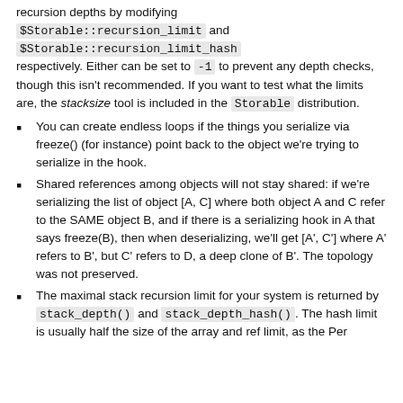recursion depths by modifying $Storable::recursion_limit and $Storable::recursion_limit_hash respectively. Either can be set to -1 to prevent any depth checks, though this isn't recommended. If you want to test what the limits are, the stacksize tool is included in the Storable distribution.
You can create endless loops if the things you serialize via freeze() (for instance) point back to the object we're trying to serialize in the hook.
Shared references among objects will not stay shared: if we're serializing the list of object [A, C] where both object A and C refer to the SAME object B, and if there is a serializing hook in A that says freeze(B), then when deserializing, we'll get [A', C'] where A' refers to B', but C' refers to D, a deep clone of B'. The topology was not preserved.
The maximal stack recursion limit for your system is returned by stack_depth() and stack_depth_hash(). The hash limit is usually half the size of the array and ref limit, as the Perl